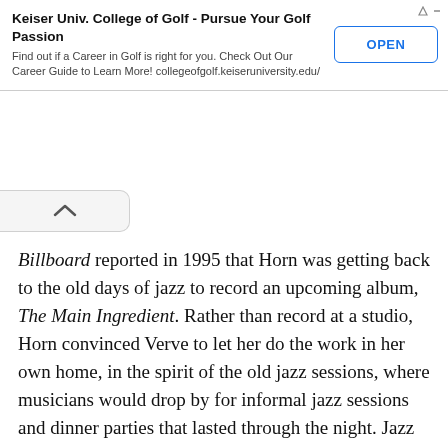[Figure (screenshot): Advertisement banner for Keiser University College of Golf with an OPEN button and corner icons.]
Billboard reported in 1995 that Horn was getting back to the old days of jazz to record an upcoming album, The Main Ingredient. Rather than record at a studio, Horn convinced Verve to let her do the work in her own home, in the spirit of the old jazz sessions, where musicians would drop by for informal jazz sessions and dinner parties that lasted through the night. Jazz players like Buck Hill and Steve Novosel were among those who showed up